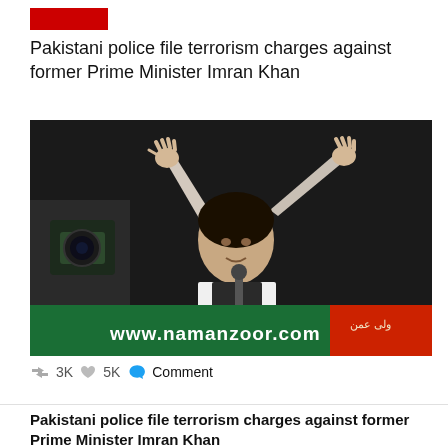[Figure (other): Red category label bar]
Pakistani police file terrorism charges against former Prime Minister Imran Khan
[Figure (photo): Imran Khan raising both hands at a rally, standing at a podium with a green banner reading www.namanzoor.com, at night]
3K   5K   Comment
Pakistani police file terrorism charges against former Prime Minister Imran Khan